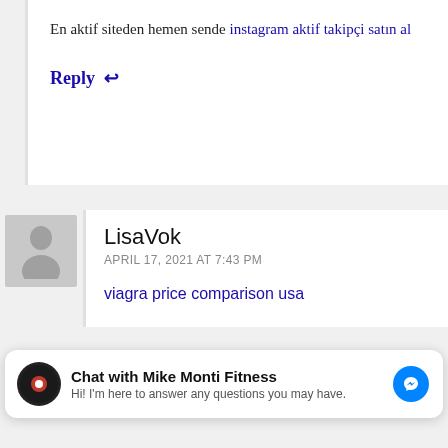En aktif siteden hemen sende instagram aktif takipçi satın al
Reply
LisaVok
APRIL 17, 2021 AT 7:43 PM
viagra price comparison usa
Chat with Mike Monti Fitness
Hi! I'm here to answer any questions you may have.